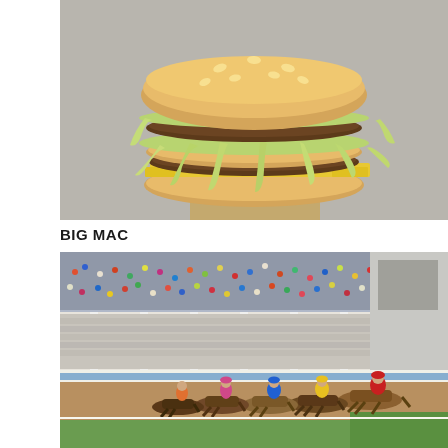[Figure (photo): Close-up photograph of a McDonald's Big Mac burger with sesame seed bun, two beef patties, shredded lettuce, and yellow cheese slices spilling out, on a gray background]
BIG MAC
[Figure (photo): Horse racing event at a crowded racetrack, with jockeys on horses racing along a dirt track, and large grandstands full of spectators in the background]